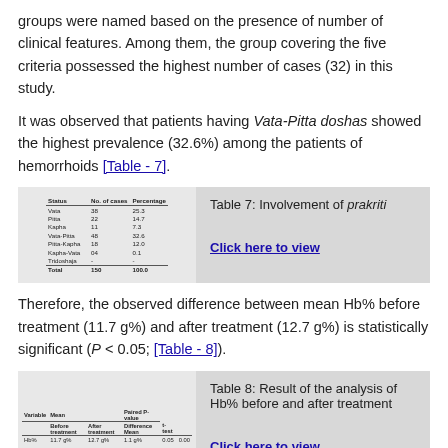groups were named based on the presence of number of clinical features. Among them, the group covering the five criteria possessed the highest number of cases (32) in this study.
It was observed that patients having Vata-Pitta doshas showed the highest prevalence (32.6%) among the patients of hemorrhoids [Table - 7].
[Figure (table-as-image): Small thumbnail of Table 7 showing prakriti involvement with columns: Status, No. of cases, Percentage]
Table 7: Involvement of prakriti
Therefore, the observed difference between mean Hb% before treatment (11.7 g%) and after treatment (12.7 g%) is statistically significant (P < 0.05; [Table - 8]).
[Figure (table-as-image): Small thumbnail of Table 8 showing result of analysis of Hb% before and after treatment with columns: Variable, Mean Before treatment, Mean After treatment, Difference Mean, Paired P-value]
Table 8: Result of the analysis of Hb% before and after treatment